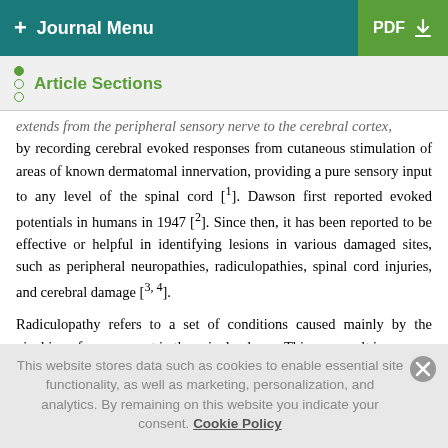+ Journal Menu | PDF ↓
Article Sections
extends from the peripheral sensory nerve to the cerebral cortex, by recording cerebral evoked responses from cutaneous stimulation of areas of known dermatomal innervation, providing a pure sensory input to any level of the spinal cord [1]. Dawson first reported evoked potentials in humans in 1947 [2]. Since then, it has been reported to be effective or helpful in identifying lesions in various damaged sites, such as peripheral neuropathies, radiculopathies, spinal cord injuries, and cerebral damage [3, 4].
Radiculopathy refers to a set of conditions caused mainly by the pinching of a nerve root in the spinal column. This can result in
This website stores data such as cookies to enable essential site functionality, as well as marketing, personalization, and analytics. By remaining on this website you indicate your consent. Cookie Policy